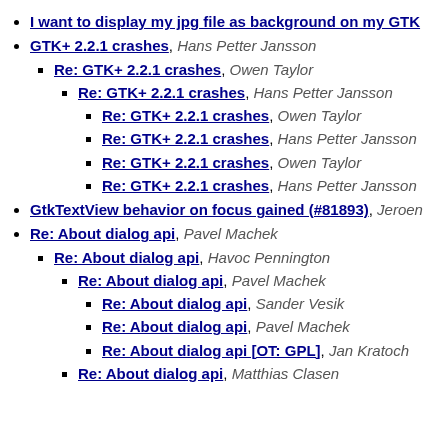I want to display my jpg file as background on my GTK...
GTK+ 2.2.1 crashes, Hans Petter Jansson
Re: GTK+ 2.2.1 crashes, Owen Taylor
Re: GTK+ 2.2.1 crashes, Hans Petter Jansson
Re: GTK+ 2.2.1 crashes, Owen Taylor
Re: GTK+ 2.2.1 crashes, Hans Petter Jansson
Re: GTK+ 2.2.1 crashes, Owen Taylor
Re: GTK+ 2.2.1 crashes, Hans Petter Jansson
GtkTextView behavior on focus gained (#81893), Jeroen...
Re: About dialog api, Pavel Machek
Re: About dialog api, Havoc Pennington
Re: About dialog api, Pavel Machek
Re: About dialog api, Sander Vesik
Re: About dialog api, Pavel Machek
Re: About dialog api [OT: GPL], Jan Kratoch...
Re: About dialog api, Matthias Clasen